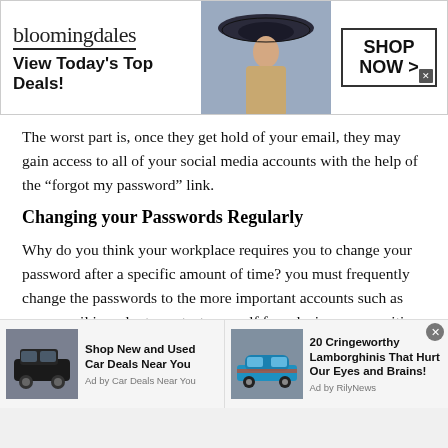[Figure (screenshot): Bloomingdales advertisement banner with logo, model in hat, and SHOP NOW button]
The worst part is, once they get hold of your email, they may gain access to all of your social media accounts with the help of the “forgot my password” link.
Changing your Passwords Regularly
Why do you think your workplace requires you to change your password after a specific amount of time? you must frequently change the passwords to the more important accounts such as your email in order to protect yourself from losing any sensitive information.
[Figure (screenshot): Bottom ad bar with two ads: Shop New and Used Car Deals Near You (Car Deals Near You), and 20 Cringeworthy Lamborghinis That Hurt Our Eyes and Brains! (RilyNews)]